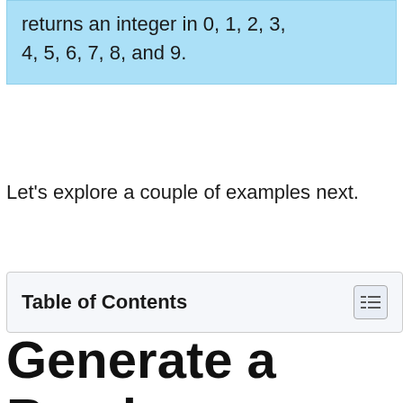returns an integer in 0, 1, 2, 3, 4, 5, 6, 7, 8, and 9.
Let's explore a couple of examples next.
Table of Contents
Generate a Random Integer